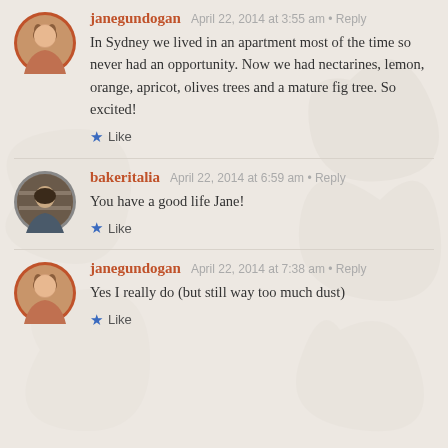janegundogan — April 22, 2014 at 3:55 am • Reply
In Sydney we lived in an apartment most of the time so never had an opportunity. Now we had nectarines, lemon, orange, apricot, olives trees and a mature fig tree. So excited!
★ Like
bakeritalia — April 22, 2014 at 6:59 am • Reply
You have a good life Jane!
★ Like
janegundogan — April 22, 2014 at 7:38 am • Reply
Yes I really do (but still way too much dust)
★ Like